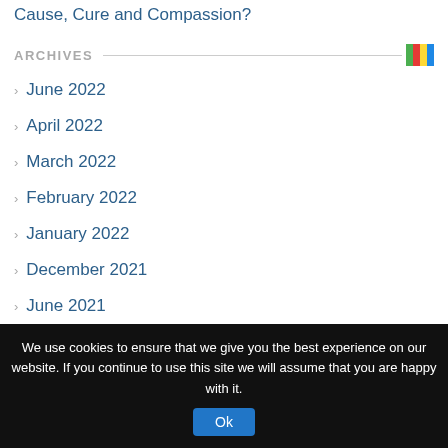Cause, Cure and Compassion?
ARCHIVES
June 2022
April 2022
March 2022
February 2022
January 2022
December 2021
June 2021
May 2021
April 2021
February 2021
We use cookies to ensure that we give you the best experience on our website. If you continue to use this site we will assume that you are happy with it.